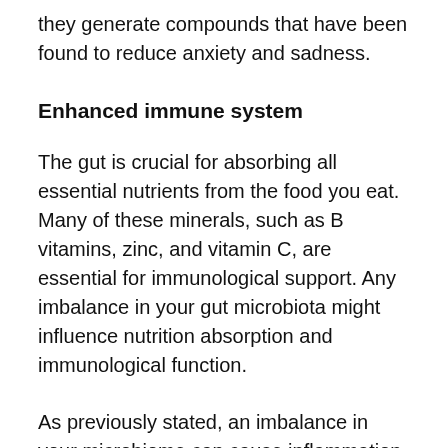they generate compounds that have been found to reduce anxiety and sadness.
Enhanced immune system
The gut is crucial for absorbing all essential nutrients from the food you eat. Many of these minerals, such as B vitamins, zinc, and vitamin C, are essential for immunological support. Any imbalance in your gut microbiota might influence nutrition absorption and immunological function.
As previously stated, an imbalance in your microbiome can cause inflammation in the stomach. Larger food particles and other pollutants can enter your circulation if inflammation progresses to a leaky gut, prompting a continuous immune response. Taking a